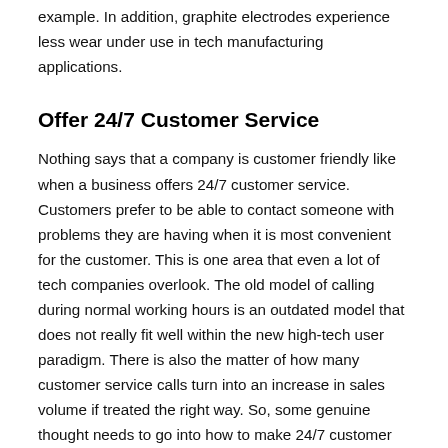example. In addition, graphite electrodes experience less wear under use in tech manufacturing applications.
Offer 24/7 Customer Service
Nothing says that a company is customer friendly like when a business offers 24/7 customer service. Customers prefer to be able to contact someone with problems they are having when it is most convenient for the customer. This is one area that even a lot of tech companies overlook. The old model of calling during normal working hours is an outdated model that does not really fit well within the new high-tech user paradigm. There is also the matter of how many customer service calls turn into an increase in sales volume if treated the right way. So, some genuine thought needs to go into how to make 24/7 customer service options and portholes serve the needs of the company as much as they serve the needs of the customer.